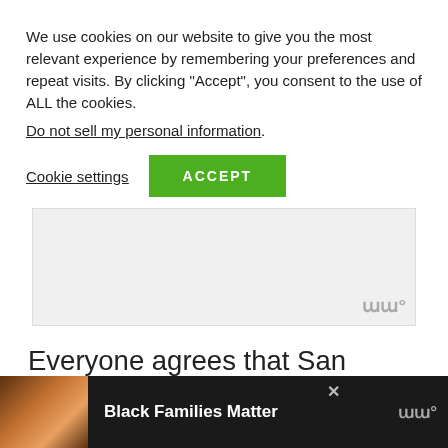We use cookies on our website to give you the most relevant experience by remembering your preferences and repeat visits. By clicking “Accept”, you consent to the use of ALL the cookies. Do not sell my personal information.
Cookie settings
ACCEPT
[Figure (other): Gray advertisement placeholder box with small logo mark in bottom right corner]
Everyone agrees that San Francisco is Northern California and Los Angeles is Southern California, but the in-
[Figure (other): Bottom advertisement banner with family photo, Black Families Matter text, close button and logo]